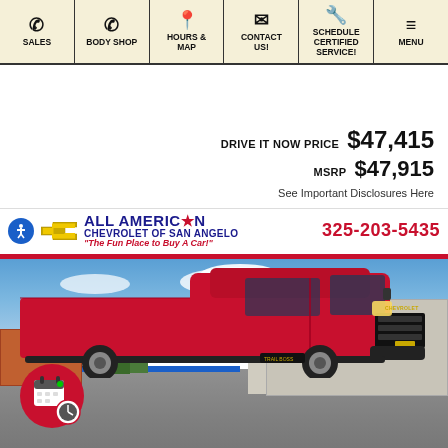SALES | BODY SHOP | HOURS & MAP | CONTACT US! | SCHEDULE CERTIFIED SERVICE! | MENU
DRIVE IT NOW PRICE $47,415
MSRP $47,915
See Important Disclosures Here
[Figure (logo): All American Chevrolet of San Angelo dealer logo with phone number 325-203-5435]
[Figure (photo): Red Chevrolet Silverado pickup truck parked in dealership lot with blue sky background]